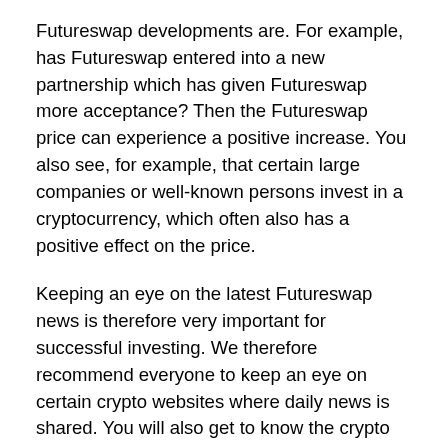Futureswap developments are. For example, has Futureswap entered into a new partnership which has given Futureswap more acceptance? Then the Futureswap price can experience a positive increase. You also see, for example, that certain large companies or well-known persons invest in a cryptocurrency, which often also has a positive effect on the price.
Keeping an eye on the latest Futureswap news is therefore very important for successful investing. We therefore recommend everyone to keep an eye on certain crypto websites where daily news is shared. You will also get to know the crypto you want to invest in and you will have more insight in why the price went up or down. Examples of such websites are Github or Reddit.
Futureswap predictions for 2022, 2023and 2025